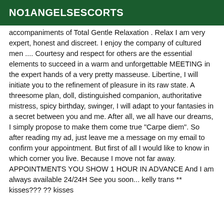NO1ANGELSESCORTS
accompaniments of Total Gentle Relaxation . Relax I am very expert, honest and discreet. I enjoy the company of cultured men .... Courtesy and respect for others are the essential elements to succeed in a warm and unforgettable MEETING in the expert hands of a very pretty masseuse. Libertine, I will initiate you to the refinement of pleasure in its raw state. A threesome plan, doll, distinguished companion, authoritative mistress, spicy birthday, swinger, I will adapt to your fantasies in a secret between you and me. After all, we all have our dreams, I simply propose to make them come true "Carpe diem". So after reading my ad, just leave me a message on my email to confirm your appointment. But first of all I would like to know in which corner you live. Because I move not far away. APPOINTMENTS YOU SHOW 1 HOUR IN ADVANCE And I am always available 24/24H See you soon... kelly trans ** kisses??? ?? kisses